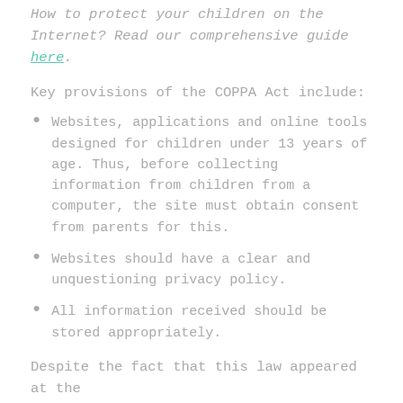How to protect your children on the Internet? Read our comprehensive guide here.
Key provisions of the COPPA Act include:
Websites, applications and online tools designed for children under 13 years of age. Thus, before collecting information from children from a computer, the site must obtain consent from parents for this.
Websites should have a clear and unquestioning privacy policy.
All information received should be stored appropriately.
Despite the fact that this law appeared at the